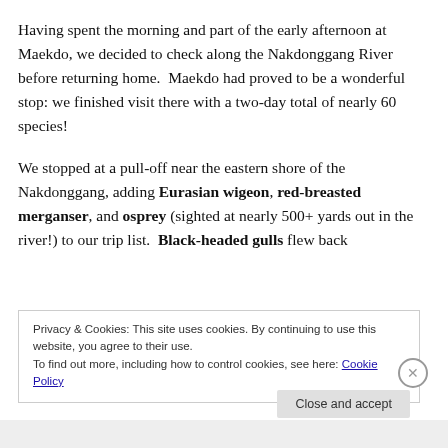Having spent the morning and part of the early afternoon at Maekdo, we decided to check along the Nakdonggang River before returning home.  Maekdo had proved to be a wonderful stop: we finished visit there with a two-day total of nearly 60 species!

We stopped at a pull-off near the eastern shore of the Nakdonggang, adding Eurasian wigeon, red-breasted merganser, and osprey (sighted at nearly 500+ yards out in the river!) to our trip list.  Black-headed gulls flew back
Privacy & Cookies: This site uses cookies. By continuing to use this website, you agree to their use.
To find out more, including how to control cookies, see here: Cookie Policy